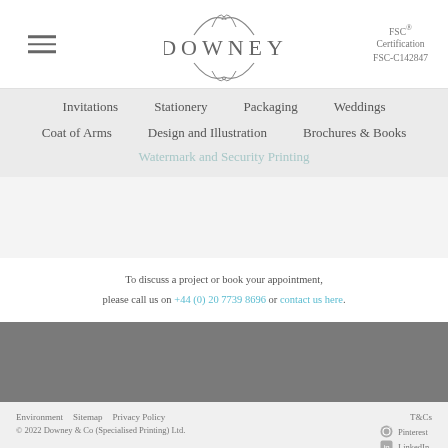[Figure (logo): Downey decorative script logo with swash ornaments above and below the text 'DOWNEY']
FSC® Certification FSC-C142847
Invitations
Stationery
Packaging
Weddings
Coat of Arms
Design and Illustration
Brochures & Books
Watermark and Security Printing
To discuss a project or book your appointment, please call us on +44 (0) 20 7739 8696 or contact us here.
Environment  Sitemap  Privacy Policy  T&Cs  © 2022 Downey & Co (Specialised Printing) Ltd.  Pinterest  LinkedIn  Instagram